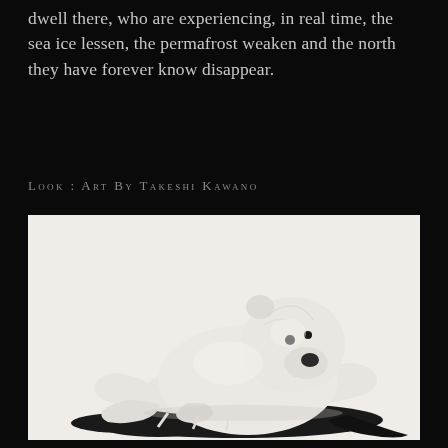dwell there, who are experiencing, in real time, the sea ice lessen, the permafrost weaken and the north they have forever know disappear.
Look : Art By Takeshi Kawano
[Figure (photo): A sculptural artwork depicting a polar bear appearing to melt into a liquid black pool, white ceramic or porcelain bear dissolving downward, symbolic of climate change impact on Arctic wildlife. Art by Takeshi Kawano.]